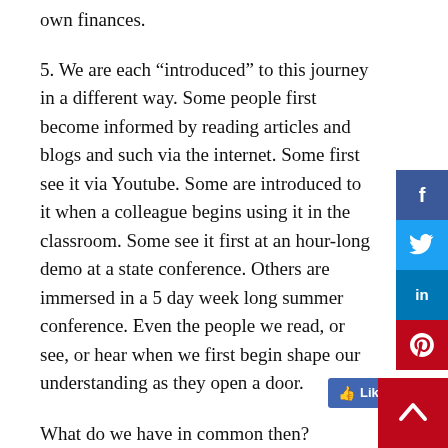others must carve out these opportunities from their own finances.
5. We are each “introduced” to this journey in a different way. Some people first become informed by reading articles and blogs and such via the internet. Some first see it via Youtube. Some are introduced to it when a colleague begins using it in the classroom. Some see it first at an hour-long demo at a state conference. Others are immersed in a 5 day week long summer conference. Even the people we read, or see, or hear when we first begin shape our understanding as they open a door.
What do we have in common then?
Are there commonalities among “novices? I think that